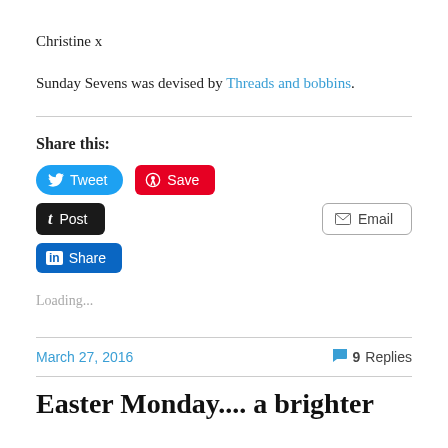Christine x
Sunday Sevens was devised by Threads and bobbins.
Share this:
Loading...
March 27, 2016
9 Replies
Easter Monday.... a brighter